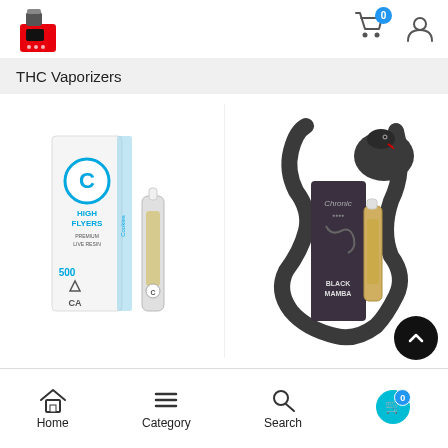[Figure (screenshot): E-commerce mobile app page showing THC Vaporizers category with two products (Cookies brand cartridge and Chronic brand Black Mamba cartridge) and bottom navigation bar with Home, Category, Search, and cart icons.]